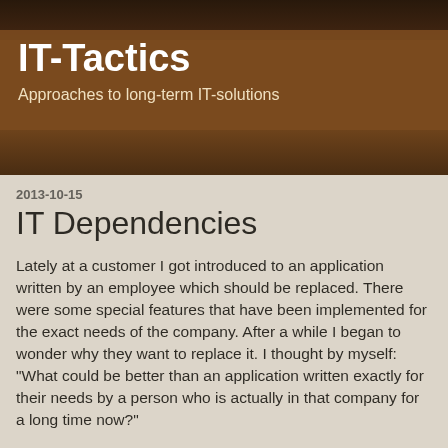IT-Tactics
Approaches to long-term IT-solutions
2013-10-15
IT Dependencies
Lately at a customer I got introduced to an application written by an employee which should be replaced. There were some special features that have been implemented for the exact needs of the company. After a while I began to wonder why they want to replace it. I thought by myself: "What could be better than an application written exactly for their needs by a person who is actually in that company for a long time now?"
Finally at the end of the meeting after the others left, I asked the project manager at the company what the real reason is that they want to replace that program. The answer was: